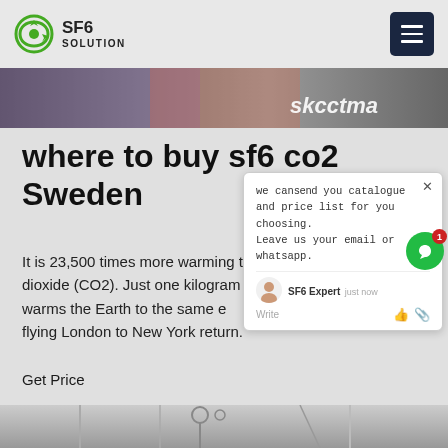SF6 SOLUTION
[Figure (screenshot): Top banner image with colorful background and italic text 'skcctma' or similar]
where to buy sf6 co2 Sweden
It is 23,500 times more warming tha... dioxide (CO2). Just one kilogram of... s warms the Earth to the same e... t: flying London to New York return.
Get Price
[Figure (screenshot): Chat popup widget showing message: 'we can send you catalogue and price list for you choosing. Leave us your email or whatsapp.' with SF6 Expert agent labeled 'just now' and Write input area with thumbs-up and paperclip icons]
[Figure (photo): Bottom photo showing industrial equipment or infrastructure]